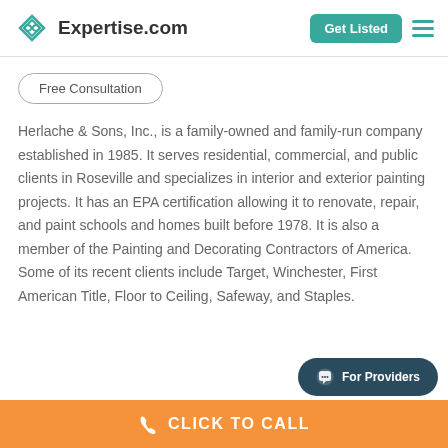Expertise.com | Get Listed
Free Consultation
Herlache & Sons, Inc., is a family-owned and family-run company established in 1985. It serves residential, commercial, and public clients in Roseville and specializes in interior and exterior painting projects. It has an EPA certification allowing it to renovate, repair, and paint schools and homes built before 1978. It is also a member of the Painting and Decorating Contractors of America. Some of its recent clients include Target, Winchester, First American Title, Floor to Ceiling, Safeway, and Staples.
For Providers
CLICK TO CALL